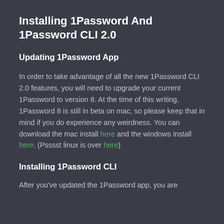Installing 1Password And 1Password CLI 2.0
Updating 1Password App
In order to take advantage of all the new 1Password CLI 2.0 features, you will need to upgrade your current 1Password to version 8. At the time of this writing, 1Password 8 is still in beta on mac, so please keep that in mind if you do experience any weirdness. You can download the mac install here and the windows install here. (Psssst linux is over here)
Installing 1Password CLI
After you've updated the 1Password app, you are